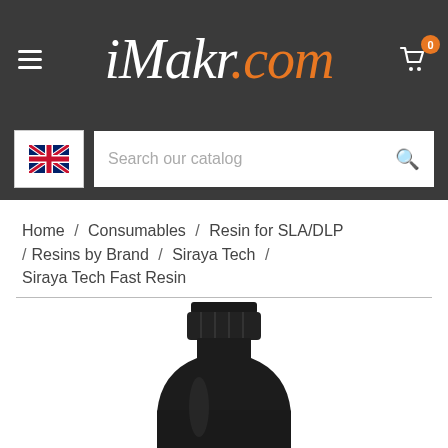iMakr.com — navigation header with hamburger menu, logo, and cart (0 items)
[Figure (screenshot): UK flag icon for language selection]
Search our catalog
Home / Consumables / Resin for SLA/DLP / Resins by Brand / Siraya Tech / Siraya Tech Fast Resin
[Figure (photo): Black opaque bottle of Siraya Tech Fast Resin, partially cropped showing neck and upper body]